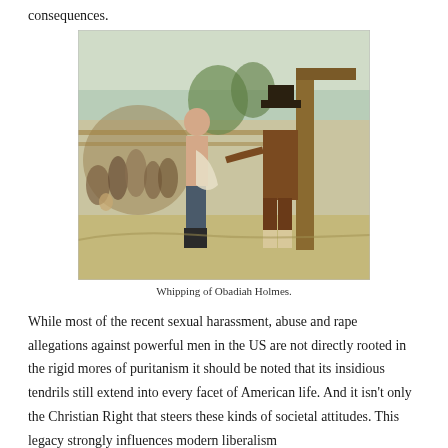consequences.
[Figure (illustration): Historical color engraving titled 'Whipping of Obadiah Holmes' showing a shirtless man standing at a post while a colonial-era figure in a hat prepares to administer punishment, with a crowd of onlookers in the background.]
Whipping of Obadiah Holmes.
While most of the recent sexual harassment, abuse and rape allegations against powerful men in the US are not directly rooted in the rigid mores of puritanism it should be noted that its insidious tendrils still extend into every facet of American life. And it isn't only the Christian Right that steers these kinds of societal attitudes. This legacy strongly influences modern liberalism